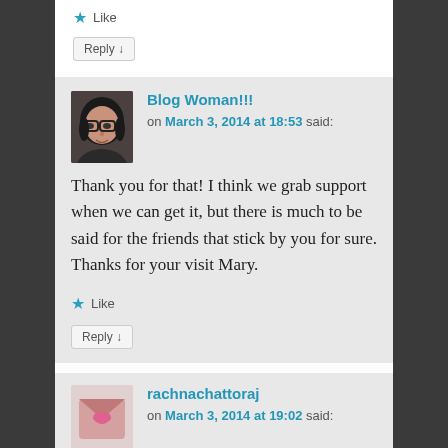★ Like
Reply ↓
Blog Woman!!!
on March 3, 2014 at 18:53 said:
Thank you for that! I think we grab support when we can get it, but there is much to be said for the friends that stick by you for sure. Thanks for your visit Mary.
★ Like
Reply ↓
rachnachattoraj
on March 3, 2014 at 19:02 said: